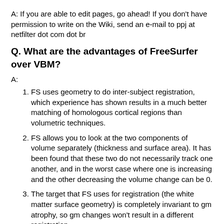A: If you are able to edit pages, go ahead! If you don't have permission to write on the Wiki, send an e-mail to ppj at netfilter dot com dot br
Q. What are the advantages of FreeSurfer over VBM?
A:
FS uses geometry to do inter-subject registration, which experience has shown results in a much better matching of homologous cortical regions than volumetric techniques.
FS allows you to look at the two components of volume separately (thickness and surface area). It has been found that these two do not necessarily track one another, and in the worst case where one is increasing and the other decreasing the volume change can be 0.
The target that FS uses for registration (the white matter surface geometry) is completely invariant to gm atrophy, so gm changes won't result in a different registration.